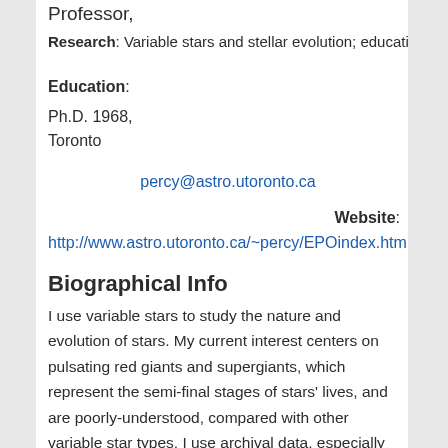Professor,
Research: Variable stars and stellar evolution; educati
Emeritus
Education:
Ph.D. 1968,
Toronto
percy@astro.utoronto.ca
Website:
http://www.astro.utoronto.ca/~percy/EPOindex.htm
Biographical Info
I use variable stars to study the nature and evolution of stars. My current interest centers on pulsating red giants and supergiants, which represent the semi-final stages of stars' lives, and are poorly-understood, compared with other variable star types.  I use archival data, especially from the American Association of Variable Star Observers (AAVSO), which